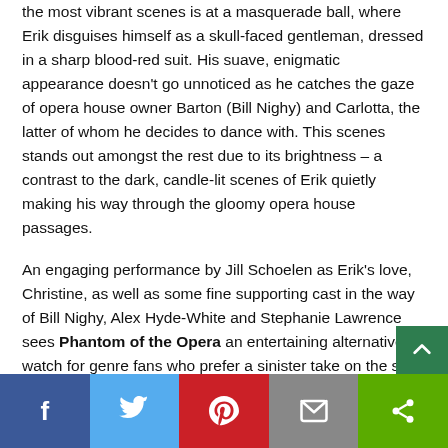the most vibrant scenes is at a masquerade ball, where Erik disguises himself as a skull-faced gentleman, dressed in a sharp blood-red suit. His suave, enigmatic appearance doesn't go unnoticed as he catches the gaze of opera house owner Barton (Bill Nighy) and Carlotta, the latter of whom he decides to dance with. This scenes stands out amongst the rest due to its brightness – a contrast to the dark, candle-lit scenes of Erik quietly making his way through the gloomy opera house passages.
An engaging performance by Jill Schoelen as Erik's love, Christine, as well as some fine supporting cast in the way of Bill Nighy, Alex Hyde-White and Stephanie Lawrence sees Phantom of the Opera an entertaining alternative watch for genre fans who prefer a sinister take on the story rather than the passionate musicals.